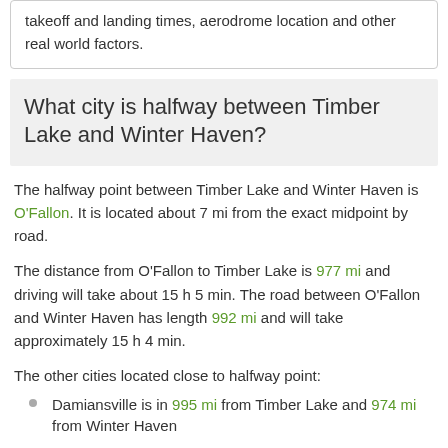takeoff and landing times, aerodrome location and other real world factors.
What city is halfway between Timber Lake and Winter Haven?
The halfway point between Timber Lake and Winter Haven is O'Fallon. It is located about 7 mi from the exact midpoint by road.
The distance from O'Fallon to Timber Lake is 977 mi and driving will take about 15 h 5 min. The road between O'Fallon and Winter Haven has length 992 mi and will take approximately 15 h 4 min.
The other cities located close to halfway point:
Damiansville is in 995 mi from Timber Lake and 974 mi from Winter Haven
Fairview Heights is in 972 mi from Timber